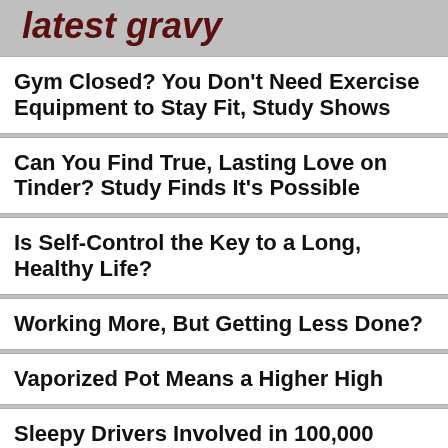latest gravy
Gym Closed? You Don't Need Exercise Equipment to Stay Fit, Study Shows
Can You Find True, Lasting Love on Tinder? Study Finds It's Possible
Is Self-Control the Key to a Long, Healthy Life?
Working More, But Getting Less Done?
Vaporized Pot Means a Higher High
Sleepy Drivers Involved in 100,000 Crashes a Year
Keeping Track of Healthy Calories